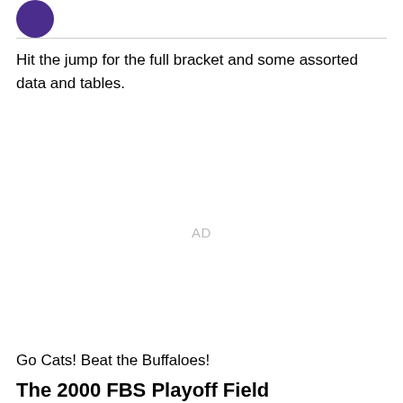[Figure (logo): Partial purple circular logo or icon at top left]
Hit the jump for the full bracket and some assorted data and tables.
AD
Go Cats! Beat the Buffaloes!
The 2000 FBS Playoff Field